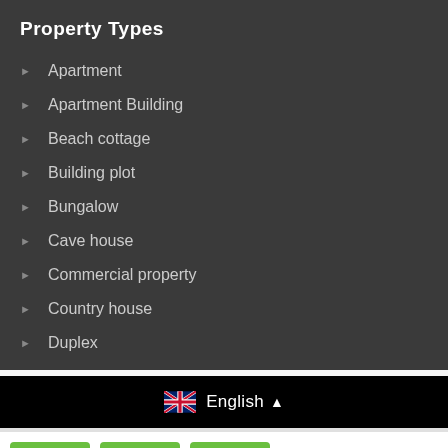Property Types
Apartment
Apartment Building
Beach cottage
Building plot
Bungalow
Cave house
Commercial property
Country house
Duplex
English
[Figure (other): Three green icon buttons: email, WhatsApp, and phone]